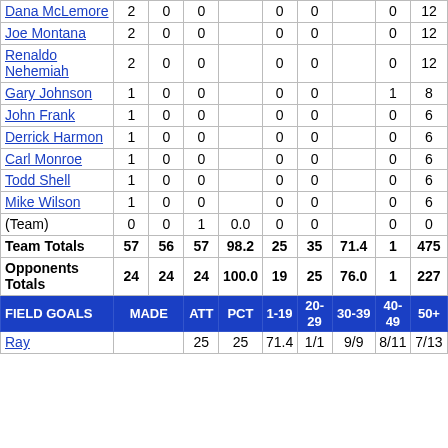|  |  |  |  |  |  |  |  |  |
| --- | --- | --- | --- | --- | --- | --- | --- | --- |
| Dana McLemore | 2 | 0 | 0 |  | 0 | 0 |  | 0 | 12 |
| Joe Montana | 2 | 0 | 0 |  | 0 | 0 |  | 0 | 12 |
| Renaldo Nehemiah | 2 | 0 | 0 |  | 0 | 0 |  | 0 | 12 |
| Gary Johnson | 1 | 0 | 0 |  | 0 | 0 |  | 1 | 8 |
| John Frank | 1 | 0 | 0 |  | 0 | 0 |  | 0 | 6 |
| Derrick Harmon | 1 | 0 | 0 |  | 0 | 0 |  | 0 | 6 |
| Carl Monroe | 1 | 0 | 0 |  | 0 | 0 |  | 0 | 6 |
| Todd Shell | 1 | 0 | 0 |  | 0 | 0 |  | 0 | 6 |
| Mike Wilson | 1 | 0 | 0 |  | 0 | 0 |  | 0 | 6 |
| (Team) | 0 | 0 | 1 | 0.0 | 0 | 0 |  | 0 | 0 |
| Team Totals | 57 | 56 | 57 | 98.2 | 25 | 35 | 71.4 | 1 | 475 |
| Opponents Totals | 24 | 24 | 24 | 100.0 | 19 | 25 | 76.0 | 1 | 227 |
| FIELD GOALS | MADE | ATT | PCT | 1-19 | 20-29 | 30-39 | 40-49 | 50+ |
| Ray |  | 25 | 25 | 71.4 | 1/1 | 9/9 | 8/11 | 7/13 | 1/2 |